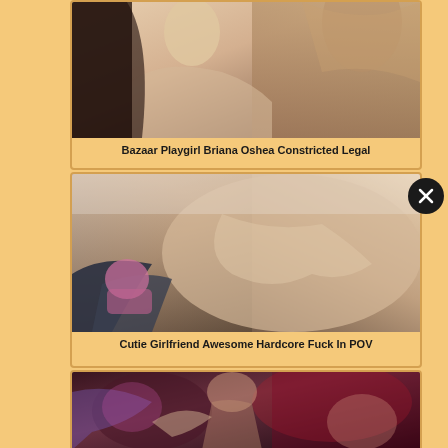[Figure (photo): Adult content thumbnail image 1 - person photo]
Bazaar Playgirl Briana Oshea Constricted Legal
[Figure (photo): Adult content thumbnail image 2 - person photo]
Cutie Girlfriend Awesome Hardcore Fuck In POV
[Figure (photo): Adult content thumbnail image 3 - partial view]